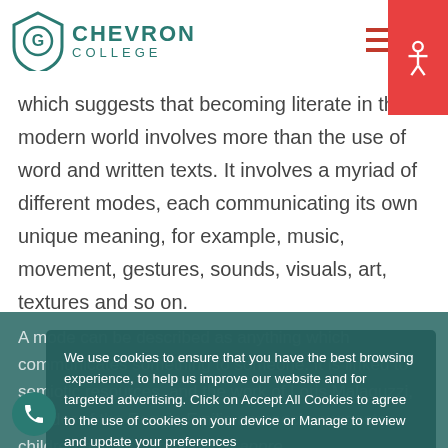Chevron College
which suggests that becoming literate in the modern world involves more than the use of words and written texts. It involves a myriad of different modes, each communicating its own unique meaning, for example, music, movement, gestures, sounds, visuals, art, textures and so on.
A mode can be described as anything which communicates something to someone. It is linked to semiotic resources, and the work of Loris Malaguzzi, founder of the Reggio Emilia approach, suggests children need the freedom to appreciate the infinite resources of their hands, their eyes, and their ears, the resources of
We use cookies to ensure that you have the best browsing experience, to help us improve our website and for targeted advertising. Click on Accept All Cookies to agree to the use of cookies on your device or Manage to review and update your preferences
MANAGE PREFERENCES
I ACCEPT